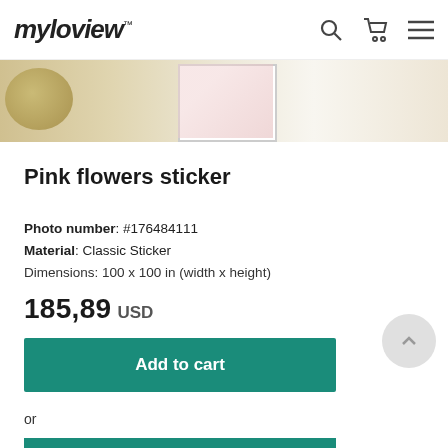myloview
[Figure (photo): Partial view of a room scene showing a wicker basket and a framed picture, used as a hero/banner image strip for the product page.]
Pink flowers sticker
Photo number: #176484111
Material: Classic Sticker
Dimensions: 100 x 100 in (width x height)
185,89 USD
Add to cart
or